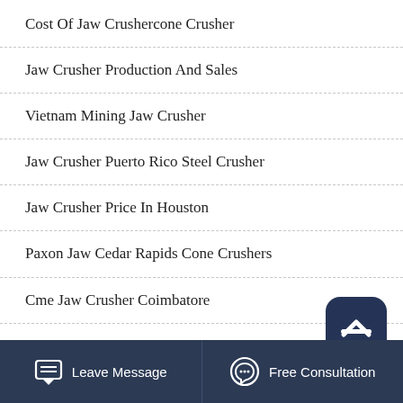Cost Of Jaw Crushercone Crusher
Jaw Crusher Production And Sales
Vietnam Mining Jaw Crusher
Jaw Crusher Puerto Rico Steel Crusher
Jaw Crusher Price In Houston
Paxon Jaw Cedar Rapids Cone Crushers
Cme Jaw Crusher Coimbatore
Portable Jaw Crusher For Sale Uk Stone Quarry Plant Sr...
Leave Message   Free Consultation